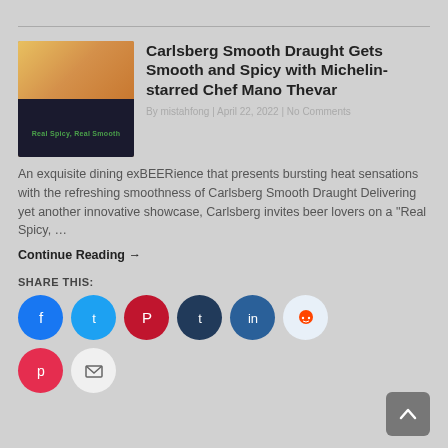[Figure (photo): Thumbnail image of Carlsberg Smooth Draught with text 'Real Spicy, Real Smooth']
Carlsberg Smooth Draught Gets Smooth and Spicy with Michelin-starred Chef Mano Thevar
By mistahfong | April 22, 2022 | No Comments
An exquisite dining exBEERience that presents bursting heat sensations with the refreshing smoothness of Carlsberg Smooth Draught Delivering yet another innovative showcase, Carlsberg invites beer lovers on a "Real Spicy, …
Continue Reading →
SHARE THIS:
[Figure (infographic): Social share buttons: Facebook, Twitter, Pinterest, Tumblr, LinkedIn, Reddit, Pocket, Email]